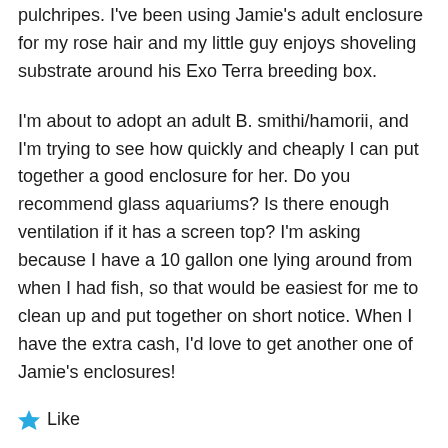pulchripes. I've been using Jamie's adult enclosure for my rose hair and my little guy enjoys shoveling substrate around his Exo Terra breeding box.
I'm about to adopt an adult B. smithi/hamorii, and I'm trying to see how quickly and cheaply I can put together a good enclosure for her. Do you recommend glass aquariums? Is there enough ventilation if it has a screen top? I'm asking because I have a 10 gallon one lying around from when I had fish, so that would be easiest for me to clean up and put together on short notice. When I have the extra cash, I'd love to get another one of Jamie's enclosures!
Like